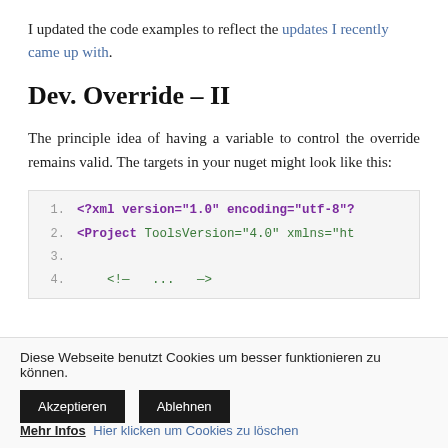I updated the code examples to reflect the updates I recently came up with.
Dev. Override – II
The principle idea of having a variable to control the override remains valid. The targets in your nuget might look like this:
[Figure (screenshot): Code block showing XML with line numbers. Line 1: <?xml version="1.0" encoding="utf-8"? (truncated). Line 2: <Project ToolsVersion="4.0" xmlns="ht (truncated). Line 3: (empty). Line 4: <!— ... —>]
Diese Webseite benutzt Cookies um besser funktionieren zu können.
Akzeptieren  Ablehnen  Mehr Infos Hier klicken um Cookies zu löschen